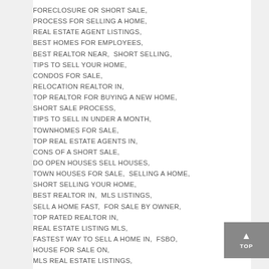FORECLOSURE OR SHORT SALE,
PROCESS FOR SELLING A HOME,
REAL ESTATE AGENT LISTINGS,
BEST HOMES FOR EMPLOYEES,
BEST REALTOR NEAR,  SHORT SELLING,
TIPS TO SELL YOUR HOME,
CONDOS FOR SALE,
RELOCATION REALTOR IN,
TOP REALTOR FOR BUYING A NEW HOME,
SHORT SALE PROCESS,
TIPS TO SELL IN UNDER A MONTH,
TOWNHOMES FOR SALE,
TOP REAL ESTATE AGENTS IN,
CONS OF A SHORT SALE,
DO OPEN HOUSES SELL HOUSES,
TOWN HOUSES FOR SALE,  SELLING A HOME,
SHORT SELLING YOUR HOME,
BEST REALTOR IN,  MLS LISTINGS,
SELL A HOME FAST,  FOR SALE BY OWNER,
TOP RATED REALTOR IN,
REAL ESTATE LISTING MLS,
FASTEST WAY TO SELL A HOME IN,  FSBO,
HOUSE FOR SALE ON,
MLS REAL ESTATE LISTINGS,
HOME SELLING TIPS,  WHY TO USE A REALTOR,